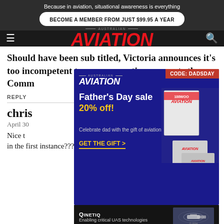Because in aviation, situational awareness is everything
BECOME A MEMBER FROM JUST $99.95 A YEAR
[Figure (logo): Australian Aviation magazine logo with red italic AVIATION text on dark background, hamburger menu and search icon]
Should have been sub titled, Victoria announces it's too incompetent to run quarantine, suggests the Comm
REPLY
chris
April 30
Nice t... avalon option in the first instance???
[Figure (screenshot): Australian Aviation Father's Day sale advertisement: CODE: DADSDAY, Father's Day sale 20% off!, Celebrate dad with the gift of aviation, GET THE GIFT >. Shows stacked Aviation magazine covers on right side.]
[Figure (screenshot): QinetiQ advertisement bar: Enabling critical UAS technologies, showing aerial vehicle image on right]